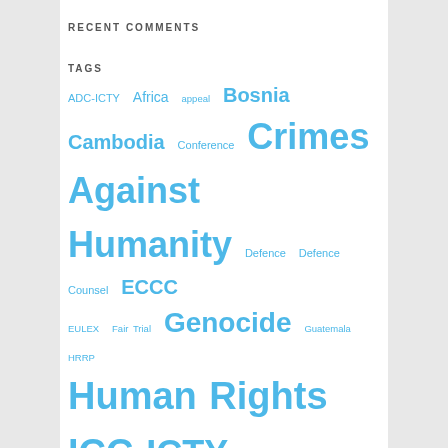RECENT COMMENTS
TAGS
ADC-ICTY Africa appeal Bosnia Cambodia Conference Crimes Against Humanity Defence Defence Counsel ECCC EULEX Fair Trial Genocide Guatemala HRRP Human Rights ICC ICTY International Criminal Court international criminal law International Humanitarian Law International Justice International Law Israel Katanga Kenya Kosovo Libya Myanmar Netherlands Palestine Rome Statute Russia Serbia South Africa Srebrenica